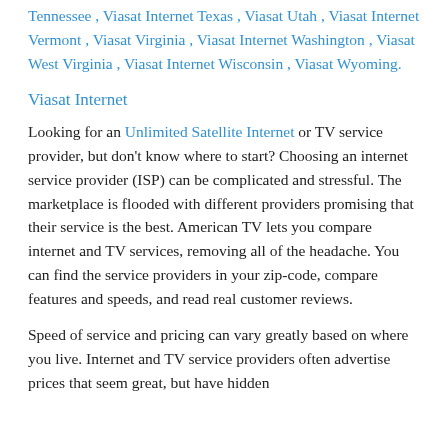Tennessee , Viasat Internet Texas , Viasat Utah , Viasat Internet Vermont , Viasat Virginia , Viasat Internet Washington , Viasat West Virginia , Viasat Internet Wisconsin , Viasat Wyoming.
Viasat Internet
Looking for an Unlimited Satellite Internet or TV service provider, but don't know where to start? Choosing an internet service provider (ISP) can be complicated and stressful. The marketplace is flooded with different providers promising that their service is the best. American TV lets you compare internet and TV services, removing all of the headache. You can find the service providers in your zip-code, compare features and speeds, and read real customer reviews.
Speed of service and pricing can vary greatly based on where you live. Internet and TV service providers often advertise prices that seem great, but have hidden